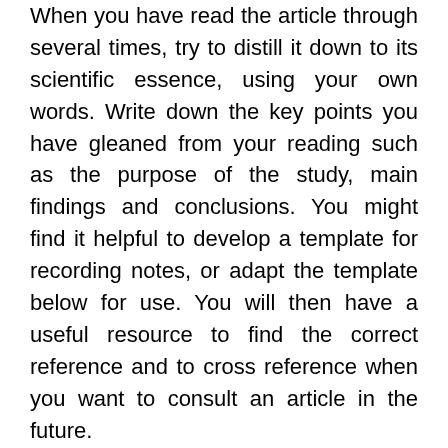When you have read the article through several times, try to distill it down to its scientific essence, using your own words. Write down the key points you have gleaned from your reading such as the purpose of the study, main findings and conclusions. You might find it helpful to develop a template for recording notes, or adapt the template below for use. You will then have a useful resource to find the correct reference and to cross reference when you want to consult an article in the future.
In the example below I have taken an article published in 2015, as an example. You can read the paper Twitter Social Media is an Effective Tool for Breast Cancer Patient...